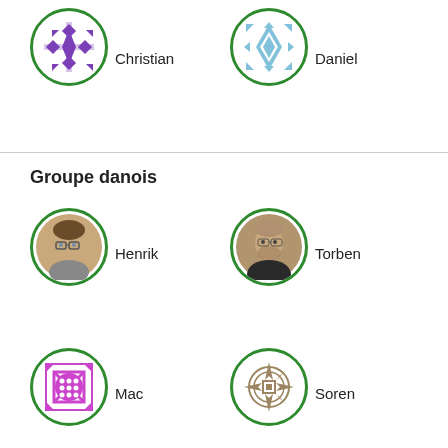[Figure (illustration): Avatar icon for Christian - purple geometric pattern in green circle]
Christian
[Figure (illustration): Avatar icon for Daniel - light blue geometric pattern in green circle]
Daniel
Groupe danois
[Figure (photo): Photo of Henrik - man with glasses in green circle]
Henrik
[Figure (photo): Photo of Torben - man in green circle]
Torben
[Figure (illustration): Avatar icon for Mac - purple geometric pattern in green circle]
Mac
[Figure (illustration): Avatar icon for Soren - tan/brown geometric pattern in green circle]
Soren
[Figure (illustration): Avatar icon for Peter - blue/purple geometric pattern in green circle]
Peter
[Figure (photo): Photo of Hasse Kirkegaard in green circle]
Hasse Kirkegaard